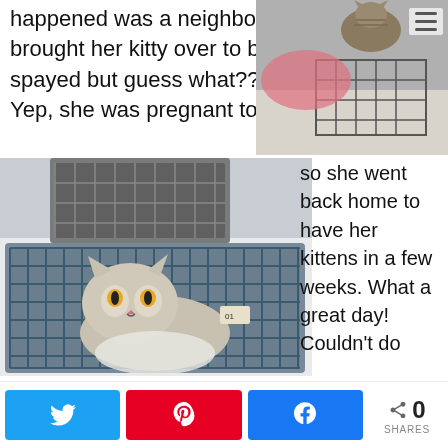happened was a neighbor brought her kitty over to be spayed but guess what??? Yep, she was pregnant too
[Figure (photo): Photo of cats in wire cages viewed from above, with pink cloth visible]
[Figure (photo): Photo of a cat inside a wire trap/cage, looking out through the bars]
so she went back home to have her kittens in a few weeks. What a great day! Couldn't do
0 SHARES